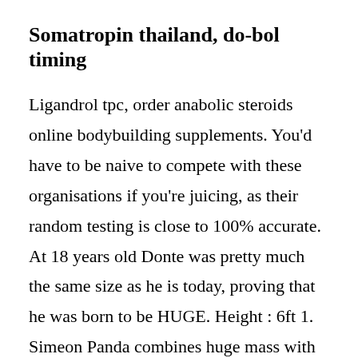Somatropin thailand, do-bol timing
Ligandrol tpc, order anabolic steroids online bodybuilding supplements. You'd have to be naive to compete with these organisations if you're juicing, as their random testing is close to 100% accurate. At 18 years old Donte was pretty much the same size as he is today, proving that he was born to be HUGE. Height : 6ft 1. Simeon Panda combines huge mass with aesthetics, resulting in one of the best physiques on the planet. At 16 Simeon was